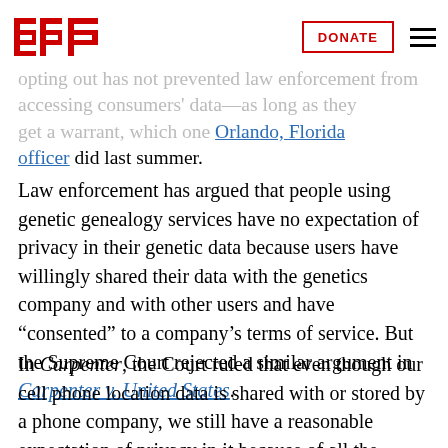EFF | DONATE
opting out has not prevented law enforcement from accessing consumers' data—as long as they get a warrant, which one Orlando, Florida officer did last summer.
Law enforcement has argued that people using genetic genealogy services have no expectation of privacy in their genetic data because users have willingly shared their data with the genetics company and with other users and have “consented” to a company’s terms of service. But the Supreme Court rejected a similar argument in Carpenter v. United States.
In Carpenter, the Court ruled that even though our cell phone location data is shared with or stored by a phone company, we still have a reasonable expectation of privacy in it because of all the